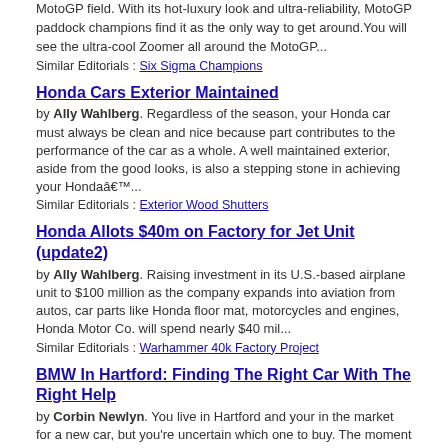MotoGP field. With its hot-luxury look and ultra-reliability, MotoGP paddock champions find it as the only way to get around.You will see the ultra-cool Zoomer all around the MotoGP...
Similar Editorials : Six Sigma Champions
Honda Cars Exterior Maintained
by Ally Wahlberg. Regardless of the season, your Honda car must always be clean and nice because part contributes to the performance of the car as a whole. A well maintained exterior, aside from the good looks, is also a stepping stone in achieving your Hondaâ€™...
Similar Editorials : Exterior Wood Shutters
Honda Allots $40m on Factory for Jet Unit (update2)
by Ally Wahlberg. Raising investment in its U.S.-based airplane unit to $100 million as the company expands into aviation from autos, car parts like Honda floor mat, motorcycles and engines, Honda Motor Co. will spend nearly $40 mil...
Similar Editorials : Warhammer 40k Factory Project
BMW In Hartford: Finding The Right Car With The Right Help
by Corbin Newlyn. You live in Hartford and your in the market for a new car, but you're uncertain which one to buy. The moment you set foot on a BMW lot in Hartford, however, you get the instant impression of that sports car sensation. Working with the BMW of Hartf...
Honda to Launch 2008 Accord in a Boston Paradise
by Rain Stockton. Perhaps the public observes that car companies love to host feasts. It is because it is one way of promoting their brand. Where there is sunshine and a prepared supply of cocktails, expect a new car introduction going down. And this